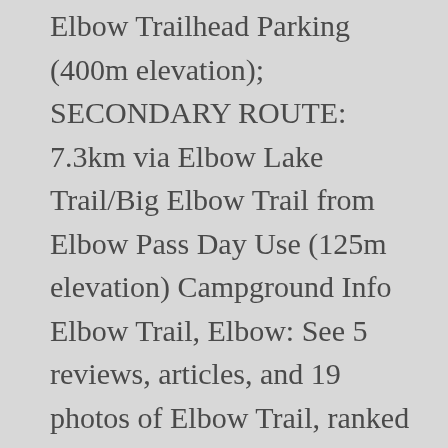Elbow Trailhead Parking (400m elevation); SECONDARY ROUTE: 7.3km via Elbow Lake Trail/Big Elbow Trail from Elbow Pass Day Use (125m elevation) Campground Info Elbow Trail, Elbow: See 5 reviews, articles, and 19 photos of Elbow Trail, ranked No.3 on Tripadvisor among 8 attractions in Elbow. Nihahi Ridge Tr. 2. In 1924, George Edworthy and his wife, Myrle, found the falls in just this way. The parking lot is very busy, got there at 10am on long weekend and go parking but when were done people were parked along the highway. Trail Access: Foot, Bicycle, Horse; Difficulty: Moderate; Hiking Trails (8) 1. Glasgow Creek – Big Elbow Loop. Developed by Elbow residents, business owners and